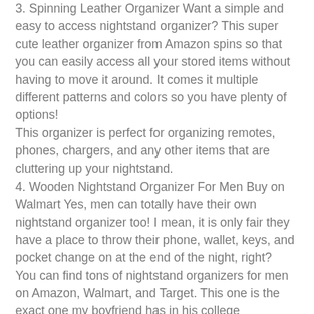3. Spinning Leather Organizer Want a simple and easy to access nightstand organizer? This super cute leather organizer from Amazon spins so that you can easily access all your stored items without having to move it around. It comes it multiple different patterns and colors so you have plenty of options!
This organizer is perfect for organizing remotes, phones, chargers, and any other items that are cluttering up your nightstand.
4. Wooden Nightstand Organizer For Men Buy on Walmart Yes, men can totally have their own nightstand organizer too! I mean, it is only fair they have a place to throw their phone, wallet, keys, and pocket change on at the end of the night, right?
You can find tons of nightstand organizers for men on Amazon, Walmart, and Target. This one is the exact one my boyfriend has in his college